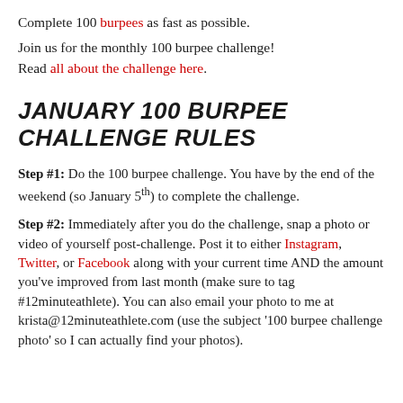Complete 100 burpees as fast as possible.
Join us for the monthly 100 burpee challenge! Read all about the challenge here.
JANUARY 100 BURPEE CHALLENGE RULES
Step #1: Do the 100 burpee challenge. You have by the end of the weekend (so January 5th) to complete the challenge.
Step #2: Immediately after you do the challenge, snap a photo or video of yourself post-challenge. Post it to either Instagram, Twitter, or Facebook along with your current time AND the amount you've improved from last month (make sure to tag #12minuteathlete). You can also email your photo to me at krista@12minuteathlete.com (use the subject '100 burpee challenge photo' so I can actually find your photos).